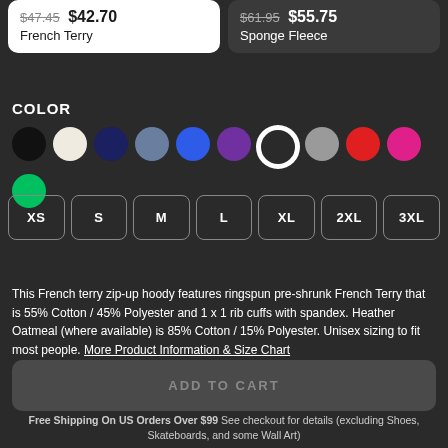$47.45 $42.70 French Terry
$61.95 $55.75 Sponge Fleece
COLOR
[Figure (illustration): Row of color swatches: black, cream/oatmeal, navy, slate/medium blue-gray, bright blue, purple, white (selected with ring), gray, red, pink/hot pink, green/emerald]
[Figure (illustration): Size selector buttons: XS, S, M, L, XL, 2XL, 3XL]
This French terry zip-up hoody features ringspun pre-shrunk French Terry that is 55% Cotton / 45% Polyester and 1 x 1 rib cuffs with spandex. Heather Oatmeal (where available) is 85% Cotton / 15% Polyester. Unisex sizing to fit most people. More Product Information & Size Chart
ADD TO CART
Free Shipping On US Orders Over $99 See checkout for details (excluding Shoes, Skateboards, and some Wall Art)